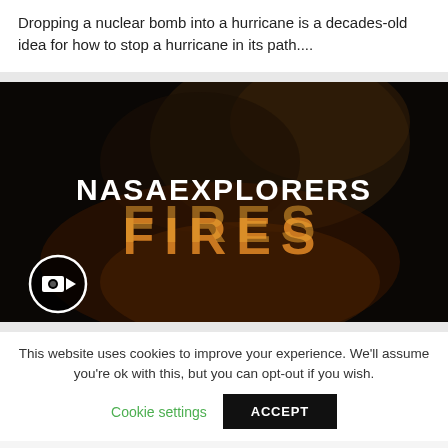Dropping a nuclear bomb into a hurricane is a decades-old idea for how to stop a hurricane in its path....
[Figure (screenshot): NASA Explorers Fires video thumbnail — dark background with golden flames imagery, white text reading 'NASA EXPLORERS' and gold/orange text reading 'FIRES', with a video camera icon in the bottom-left corner.]
This website uses cookies to improve your experience. We'll assume you're ok with this, but you can opt-out if you wish.
Cookie settings   ACCEPT